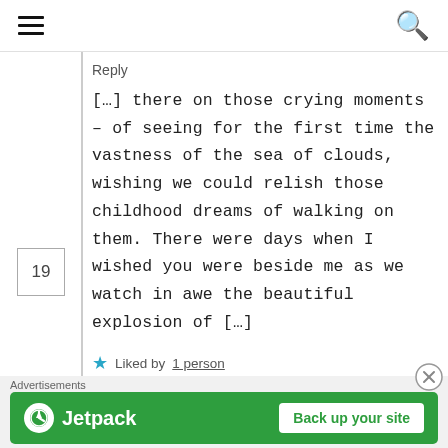Reply
[…] there on those crying moments – of seeing for the first time the vastness of the sea of clouds, wishing we could relish those childhood dreams of walking on them. There were days when I wished you were beside me as we watch in awe the beautiful explosion of […]
Liked by 1 person
The Parable of the Apple Seeds on June 24, 2018 at 11:39 pm   Reply
[…
Advertisements
[Figure (other): Jetpack advertisement banner: green background with Jetpack logo on the left and 'Back up your site' white button on the right]